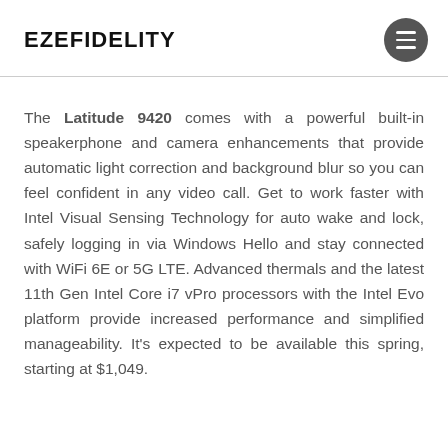EZEFIDELITY
The Latitude 9420 comes with a powerful built-in speakerphone and camera enhancements that provide automatic light correction and background blur so you can feel confident in any video call. Get to work faster with Intel Visual Sensing Technology for auto wake and lock, safely logging in via Windows Hello and stay connected with WiFi 6E or 5G LTE. Advanced thermals and the latest 11th Gen Intel Core i7 vPro processors with the Intel Evo platform provide increased performance and simplified manageability. It's expected to be available this spring, starting at $1,049.